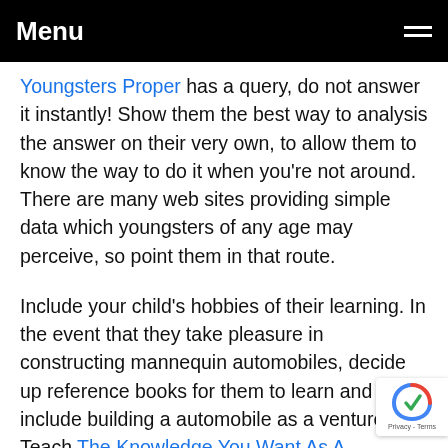Menu
Youngsters Proper has a query, do not answer it instantly! Show them the best way to analysis the answer on their very own, to allow them to know the way to do it when you're not around. There are many web sites providing simple data which youngsters of any age may perceive, so point them in that route.
Include your child's hobbies of their learning. In the event that they take pleasure in constructing mannequin automobiles, decide up reference books for them to learn and include building a automobile as a venture. Teach The Knowledge You Want As A Homeschooling Mum or dad how an engine works, how automobiles affect the surroundings and even